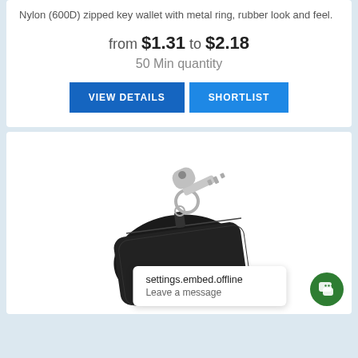Nylon (600D) zipped key wallet with metal ring, rubber look and feel.
from $1.31 to $2.18
50 Min quantity
VIEW DETAILS
SHORTLIST
[Figure (photo): Black leather zipped key wallet with metal key ring and a silver key attached, product photograph on white background.]
settings.embed.offline
Leave a message